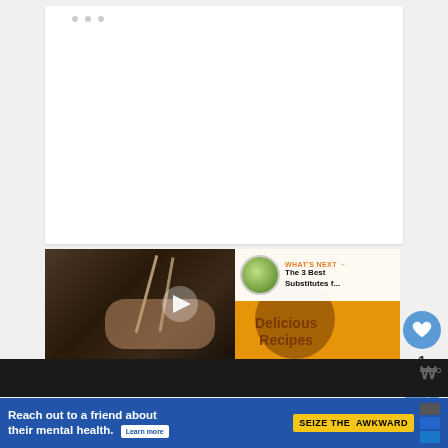[Figure (screenshot): White card area with three small grey pagination dots near top]
[Figure (screenshot): Video thumbnail showing people eating with chopsticks on left, orange background with Delicious Recipes text on right, play button in center. WHAT'S NEXT overlay in top-right showing The 3 Best Substitutes f... with circular food thumbnail.]
Delicious Recipes
WHAT'S NEXT → The 3 Best Substitutes f...
1
[Figure (screenshot): Advertisement banner: Reach out to a friend about their mental health. Learn more | SEIZE THE AWKWARD with icons]
Reach out to a friend about their mental health.
Learn more
SEIZE THE AWKWARD